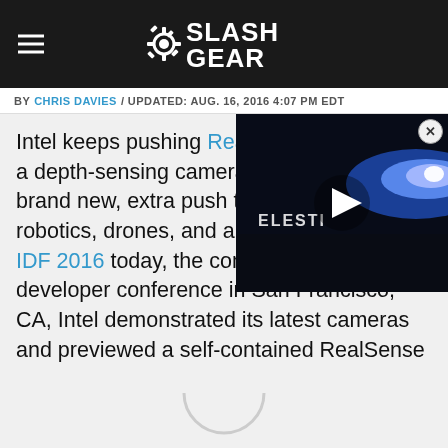SlashGear
BY CHRIS DAVIES / UPDATED: AUG. 16, 2016 4:07 PM EDT
Intel keeps pushing RealSense beyond just a depth-sensing camera, including the brand new, extra push the system into robotics, drones, and autonomous cars. At IDF 2016 today, the company's annual developer conference in San Francisco, CA, Intel demonstrated its latest cameras and previewed a self-contained RealSense computer in a box the size of a candy bar.
[Figure (screenshot): Video player overlay showing a dark video frame with text 'ELESTI' partially visible and a white play button triangle in the center, with a blue light streak in the background. A close button (X in circle) appears at the top right.]